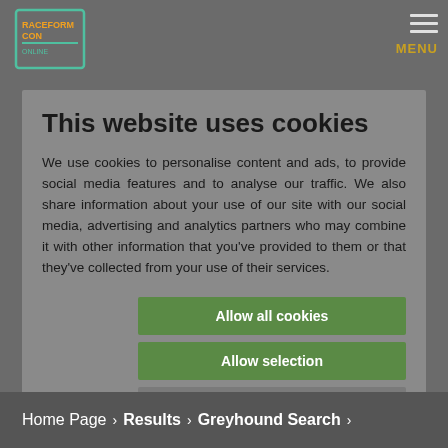[Figure (logo): Raceform Con logo in top left corner]
This website uses cookies
We use cookies to personalise content and ads, to provide social media features and to analyse our traffic. We also share information about your use of our site with our social media, advertising and analytics partners who may combine it with other information that you've provided to them or that they've collected from your use of their services.
Allow all cookies
Allow selection
Use necessary cookies only
Necessary  Preferences  Statistics  Marketing  Show details
Home Page > Results > Greyhound Search >